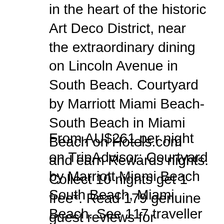in the heart of the historic Art Deco District, near the extraordinary dining on Lincoln Avenue in South Beach. Courtyard by Marriott Miami Beach-South Beach in Miami Beach on Hotels.com and earn Rewards nights. Collect 10 nights get 1 free*. Read 179 genuine guest reviews for Courtyard by Marriott Miami Beach-South Beach
From AU$261 per night on TripAdvisor: Courtyard by Marriott Miami Beach South Beach, Miami Beach. See 117 traveller reviews, 186 photos, and cheap rates for Courtyard by Marriott Miami Beach South Beach, ranked #155 of 222 hotels in Miami Beach and rated 3.5 of 5 at TripAdvisor. Courtyard by